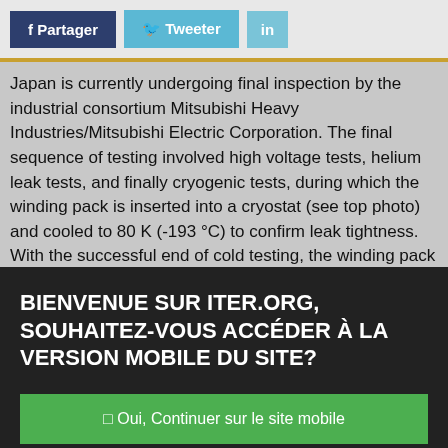[Figure (screenshot): Social sharing buttons: f Partager (Facebook, dark blue), Tweeter (Twitter, light blue), in (LinkedIn, light blue)]
Japan is currently undergoing final inspection by the industrial consortium Mitsubishi Heavy Industries/Mitsubishi Electric Corporation. The final sequence of testing involved high voltage tests, helium leak tests, and finally cryogenic tests, during which the winding pack is inserted into a cryostat (see top photo) and cooled to 80 K (-193 °C) to confirm leak tightness. With the successful end of cold testing, the winding pack is now undergoing post-cold-test helium leak tests and high voltage tests and will soon be ready for assembly with its toroidal field coil case. Five other
BIENVENUE SUR ITER.ORG, SOUHAITEZ-VOUS ACCÉDER À LA VERSION MOBILE DU SITE?
□ Oui, Continuer sur le site mobile
□ Non, rester sur la version classique